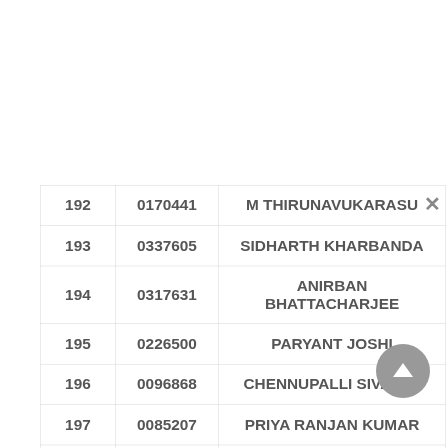|  |  |  |
| --- | --- | --- |
| 192 | 0170441 | M THIRUNAVUKARASU |
| 193 | 0337605 | SIDHARTH KHARBANDA |
| 194 | 0317631 | ANIRBAN BHATTACHARJEE |
| 195 | 0226500 | PARYANT JOSHI |
| 196 | 0096868 | CHENNUPALLI SIVA SAI |
| 197 | 0085207 | PRIYA RANJAN KUMAR |
| 198 | 0061161 | ADAVANI VEDANG PARESH |
|  |  |  |